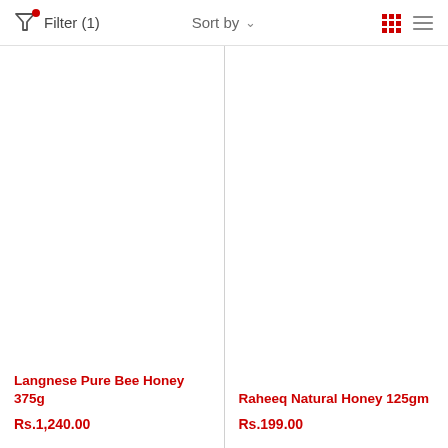Filter (1)   Sort by   [grid view] [list view]
Langnese Pure Bee Honey 375g
Rs.1,240.00
Raheeq Natural Honey 125gm
Rs.199.00